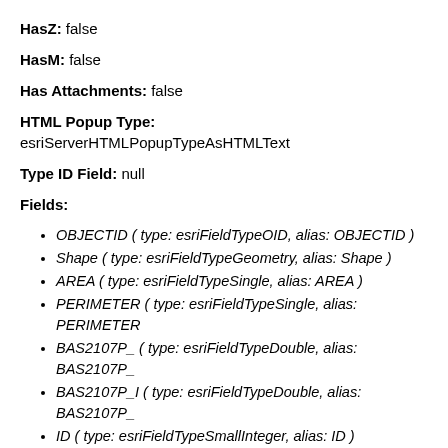HasZ: false
HasM: false
Has Attachments: false
HTML Popup Type: esriServerHTMLPopupTypeAsHTMLText
Type ID Field: null
Fields:
OBJECTID ( type: esriFieldTypeOID, alias: OBJECTID )
Shape ( type: esriFieldTypeGeometry, alias: Shape )
AREA ( type: esriFieldTypeSingle, alias: AREA )
PERIMETER ( type: esriFieldTypeSingle, alias: PERIMETER
BAS2107P_ ( type: esriFieldTypeDouble, alias: BAS2107P_
BAS2107P_I ( type: esriFieldTypeDouble, alias: BAS2107P_
ID ( type: esriFieldTypeSmallInteger, alias: ID )
SQM ( type: esriFieldTypeSingle, alias: SQM )
PT2107_ ( type: esriFieldTypeDouble, alias: PT2107_ )
PT2107_ID ( type: esriFieldTypeDouble, alias: PT2107_ID )
COM_ID ( type: esriFieldTypeDouble, alias: COM_ID )
RCH_CODE ( type: esriFieldTypeString, alias: RCH_CODE,